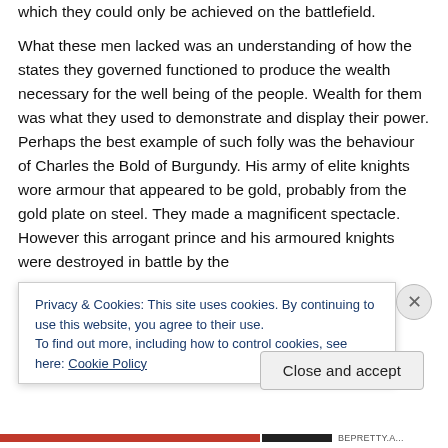which they could only be achieved on the battlefield. What these men lacked was an understanding of how the states they governed functioned to produce the wealth necessary for the well being of the people. Wealth for them was what they used to demonstrate and display their power. Perhaps the best example of such folly was the behaviour of Charles the Bold of Burgundy. His army of elite knights wore armour that appeared to be gold, probably from the gold plate on steel. They made a magnificent spectacle. However this arrogant prince and his armoured knights were destroyed in battle by the
Privacy & Cookies: This site uses cookies. By continuing to use this website, you agree to their use.
To find out more, including how to control cookies, see here: Cookie Policy
Close and accept